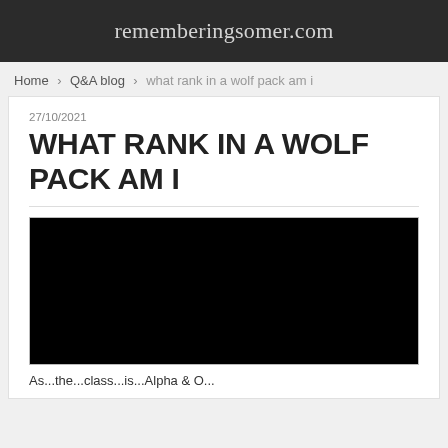rememberingsomer.com
Home › Q&A blog › what rank in a wolf pack am i
27/10/2021
WHAT RANK IN A WOLF PACK AM I
[Figure (photo): A large black/dark image placeholder, likely a video embed or thumbnail]
As...the...class...is...Alpha & O...